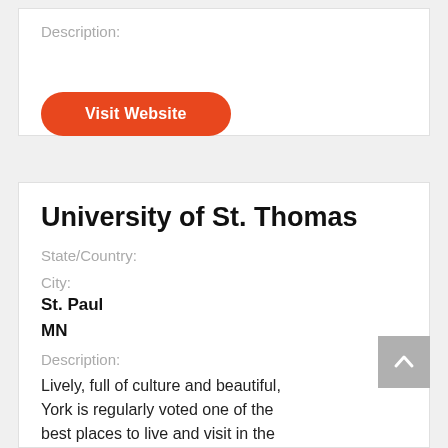Description:
[Figure (other): Orange pill-shaped button labeled 'Visit Website']
University of St. Thomas
State/Country:
City:
St. Paul
MN
Description:
Lively, full of culture and beautiful, York is regularly voted one of the best places to live and visit in the